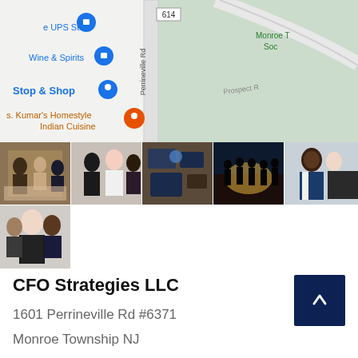[Figure (map): Google Maps screenshot showing area near Perrineville Rd with markers for The UPS Store, Wine & Spirits, Stop & Shop, and s. Kumar's Homestyle Indian Cuisine. Road 614 visible. Monroe T... Soc... and Prospect R... labels on right side.]
[Figure (photo): A strip of 6 business/professional stock photos showing groups of people in office and business settings.]
CFO Strategies LLC
1601 Perrineville Rd #6371
Monroe Township NJ